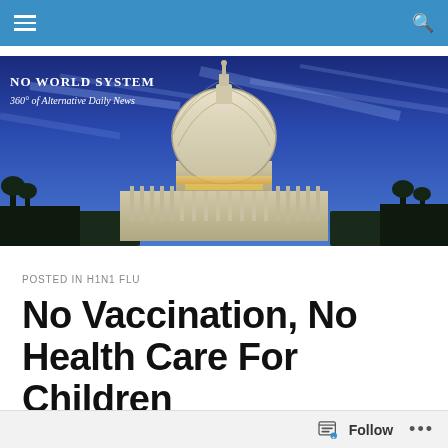Navigation bar with hamburger menu and search icon
[Figure (photo): US Capitol building at dusk with blue sky. Overlaid text: 'NO WORLD SYSTEM' and '360° of Alternative Daily News']
POSTED IN H1N1 FLU
No Vaccination, No Health Care For Children
Clinic Policy: No Vaccination, No Health Care For Children
Follow